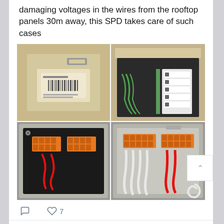damaging voltages in the wires from the rooftop panels 30m away, this SPD takes care of such cases
[Figure (photo): Four photos in a 2x2 grid showing an SPD (Surge Protection Device). Top-left: cardboard box packaging. Top-right: open box showing internal components with green wiring and white terminal blocks. Bottom-left: grey enclosure interior showing orange terminal connectors and red wiring. Bottom-right: installed SPD with orange terminal connectors, white and red cables.]
♡ 7
Martin Harizanov @mharizan… · Aug 1